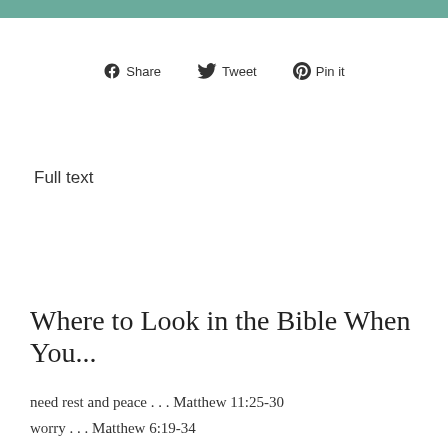[Figure (other): Teal/green decorative header bar at top of page]
[Figure (infographic): Social sharing buttons: Facebook Share, Twitter Tweet, Pinterest Pin it]
Full text
Where to Look in the Bible When You...
need rest and peace . . . Matthew 11:25-30
worry . . . Matthew 6:19-34